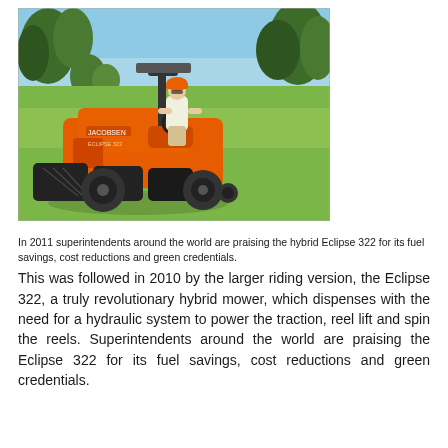[Figure (photo): A man wearing an orange hard hat rides a large orange hybrid Eclipse 322 reel mower on a golf course fairway. The machine is orange with black cutting reels in front. Trees and blue sky are visible in the background.]
In 2011 superintendents around the world are praising the hybrid Eclipse 322 for its fuel savings, cost reductions and green credentials.
This was followed in 2010 by the larger riding version, the Eclipse 322, a truly revolutionary hybrid mower, which dispenses with the need for a hydraulic system to power the traction, reel lift and spin the reels. Superintendents around the world are praising the Eclipse 322 for its fuel savings, cost reductions and green credentials.